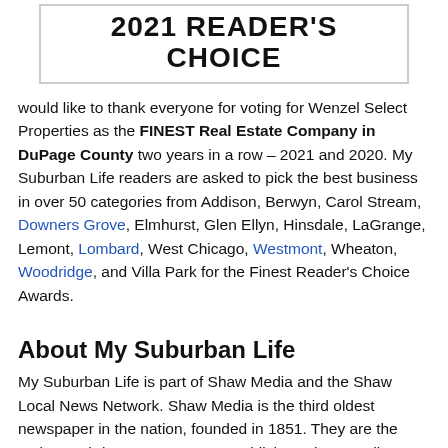[Figure (other): 2021 Reader's Choice award banner with bold black text on white background with gray border]
would like to thank everyone for voting for Wenzel Select Properties as the FINEST Real Estate Company in DuPage County two years in a row – 2021 and 2020. My Suburban Life readers are asked to pick the best business in over 50 categories from Addison, Berwyn, Carol Stream, Downers Grove, Elmhurst, Glen Ellyn, Hinsdale, LaGrange, Lemont, Lombard, West Chicago, Westmont, Wheaton, Woodridge, and Villa Park for the Finest Reader's Choice Awards.
About My Suburban Life
My Suburban Life is part of Shaw Media and the Shaw Local News Network. Shaw Media is the third oldest newspaper in the nation, founded in 1851. They are the nation's 8th-largest newspaper publisher. Shaw Media's daily and weekly print and online publications are showcased in Illinois and Iowa. Shaw Local News